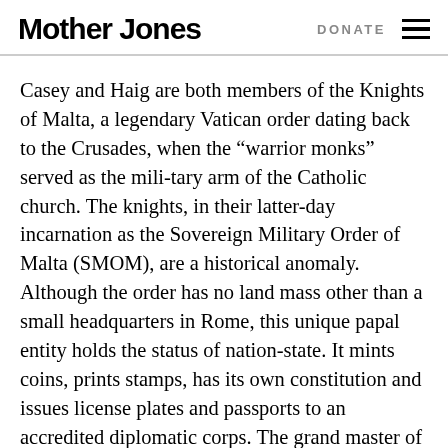Mother Jones  DONATE
Casey and Haig are both members of the Knights of Malta, a legendary Vatican order dating back to the Crusades, when the “warrior monks” served as the mili-tary arm of the Catholic church. The knights, in their latter-day incarnation as the Sovereign Military Order of Malta (SMOM), are a historical anomaly. Although the order has no land mass other than a small headquarters in Rome, this unique papal entity holds the status of nation-state. It mints coins, prints stamps, has its own constitution and issues license plates and passports to an accredited diplomatic corps. The grand master of the order, Fra Angelo de Moj ana di Cologna, holds a